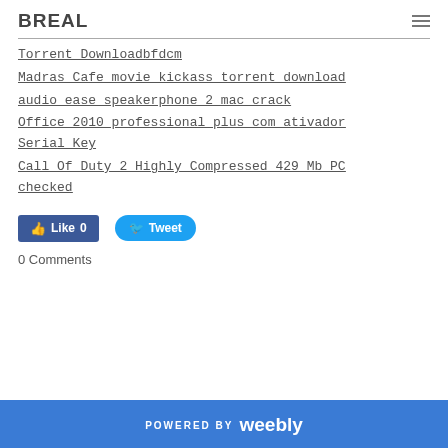BREAL
Torrent Downloadbfdcm
Madras Cafe movie kickass torrent download
audio ease speakerphone 2 mac crack
Office 2010 professional plus com ativador Serial Key
Call Of Duty 2 Highly Compressed 429 Mb PC checked
[Figure (other): Facebook Like button with count 0 and Twitter Tweet button]
0 Comments
POWERED BY weebly